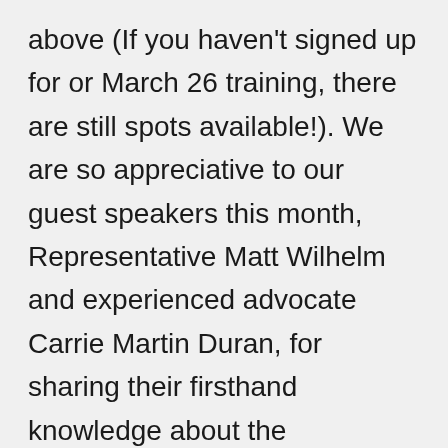above (If you haven't signed up for or March 26 training, there are still spots available!). We are so appreciative to our guest speakers this month, Representative Matt Wilhelm and experienced advocate Carrie Martin Duran, for sharing their firsthand knowledge about the importance of advocate voices in the legislative process. Our full-day advocacy trainings cover topics such as how a bill becomes a law in New Hampshire, best practices